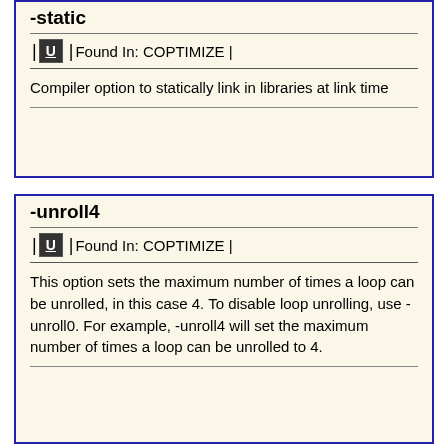-static
Found In: COPTIMIZE
Compiler option to statically link in libraries at link time
-unroll4
Found In: COPTIMIZE
This option sets the maximum number of times a loop can be unrolled, in this case 4. To disable loop unrolling, use -unroll0. For example, -unroll4 will set the maximum number of times a loop can be unrolled to 4.